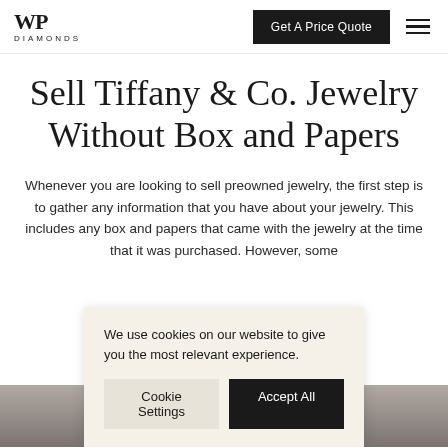WP DIAMONDS
Sell Tiffany & Co. Jewelry Without Box and Papers
Whenever you are looking to sell preowned jewelry, the first step is to gather any information that you have about your jewelry. This includes any box and papers that came with the jewelry at the time that it was purchased. However, some
We use cookies on our website to give you the most relevant experience.
Cookie Settings    Accept All